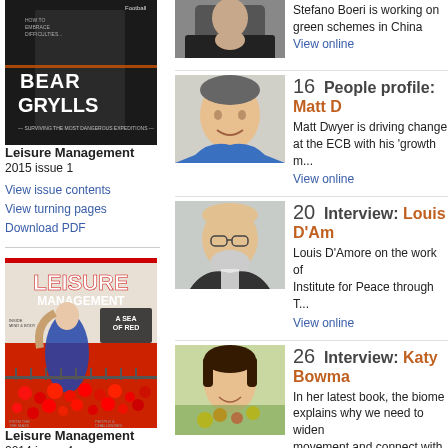[Figure (photo): Bear Grylls magazine cover, dark background]
Leisure Management
2015 issue 1
View issue contents
View turning pages
Download PDF
[Figure (photo): Leisure Management magazine cover with red poppy field, 'A Sea of Red']
Leisure Management
2014 issue 4
View issue contents
View turning pages
Download PDF
[Figure (photo): Man in dark clothing, Stefano Boeri, looking to the side]
Stefano Boeri is working on green schemes in China
View online
[Figure (photo): Matt Dwyer smiling, short dark hair]
16  People profile: Matt D
Matt Dwyer is driving change at the ECB with his 'growth m...
View online
[Figure (photo): Louis D'Amore, older man with glasses and grey beard]
20  Interview: Louis D'Am
Louis D'Amore on the work of Institute for Peace through T...
View online
[Figure (photo): Katy Bowman, woman with dark hair and flowers]
26  Interview: Katy Bowma
In her latest book, the biome explains why we need to widen movement and connect with gatherer
View online